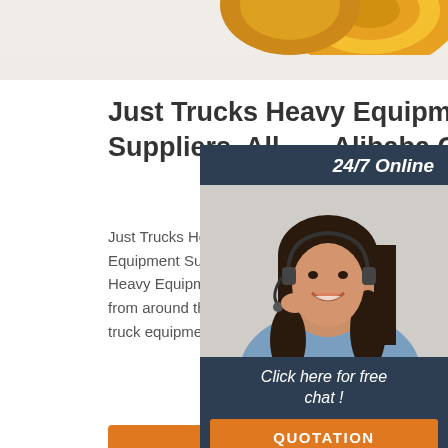[Figure (photo): Top portion of page showing partial view of rolled yellow/orange material, cropped at top]
Just Trucks Heavy Equipment Suppliers, All ... - Alibaba.Com
Just Trucks Heavy Equipment, Just Trucks Heavy Equipment Suppliers Directory - Find variety Just Trucks Heavy Equipment Suppliers, Manufacturers, Companies from around the World at used heavy equipment, truck equipment,food truck kitchen equipment,
[Figure (photo): Chat widget showing a woman with headset smiling, with '24/7 Online' header, 'Click here for free chat!' text, and orange QUOTATION button]
Get Price